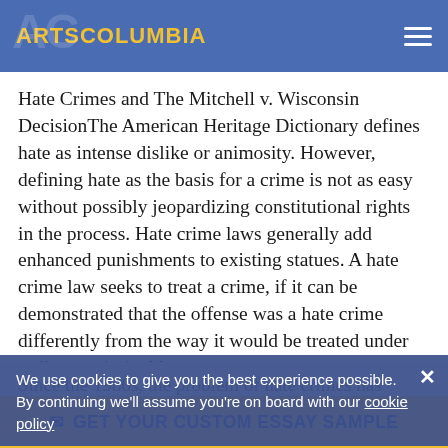ARTSCOLUMBIA
Hate Crimes and The Mitchell v. Wisconsin DecisionThe American Heritage Dictionary defines hate as intense dislike or animosity. However, defining hate as the basis for a crime is not as easy without possibly jeopardizing constitutional rights in the process. Hate crime laws generally add enhanced punishments to existing statues. A hate crime law seeks to treat a crime, if it can be demonstrated that the offense was a hate crime differently from the way it would be treated under ordinary criminal law.
Since the 1980s, the problem of hate crimes has attracted increasing research attention, especially from criminologists and law enforcement personnel
We use cookies to give you the best experience possible. By continuing we'll assume you're on board with our cookie policy
GET YOUR CUSTOM ESSAY SAMPLE